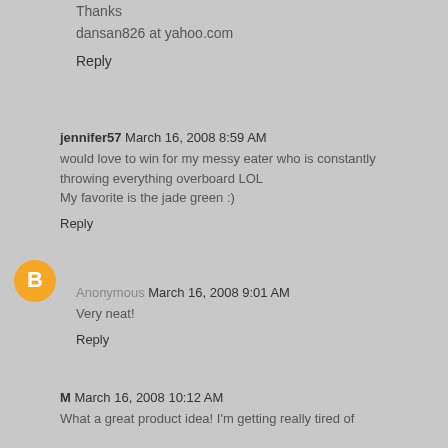Thanks
dansan826 at yahoo.com
Reply
jennifer57  March 16, 2008 8:59 AM
would love to win for my messy eater who is constantly throwing everything overboard LOL
My favorite is the jade green :)
Reply
Anonymous  March 16, 2008 9:01 AM
Very neat!
Reply
M  March 16, 2008 10:12 AM
What a great product idea! I'm getting really tired of